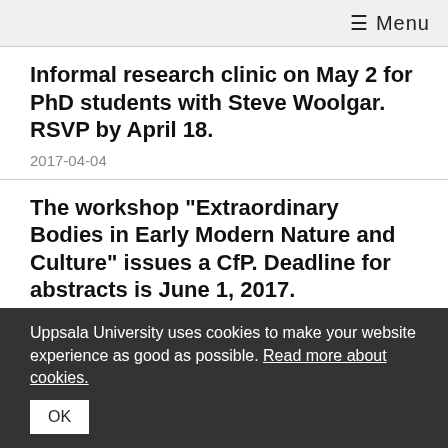≡ Menu
Informal research clinic on May 2 for PhD students with Steve Woolgar. RSVP by April 18.
2017-04-04
The workshop "Extraordinary Bodies in Early Modern Nature and Culture" issues a CfP. Deadline for abstracts is June 1, 2017.
2017-03-22
National PhD Student Symposium in the History
Uppsala University uses cookies to make your website experience as good as possible. Read more about cookies.